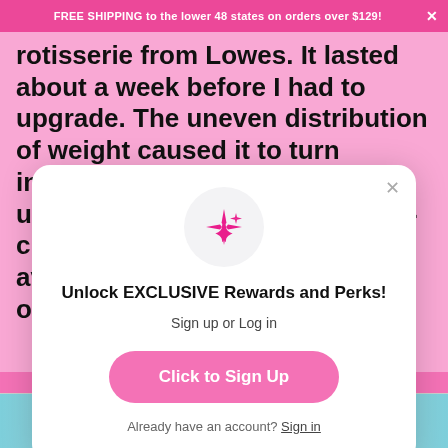FREE SHIPPING to the lower 48 states on orders over $129! ×
rotisserie from Lowes. It lasted about a week before I had to upgrade. The uneven distribution of weight caused it to turn inconsistently. It was a mess! I upgraded to the Cup-a-saurus 9-cup turner. There are more sizes available and can be found here on Etsy:
Unlock EXCLUSIVE Rewards and Perks!
Sign up or Log in
Click to Sign Up
Already have an account? Sign in